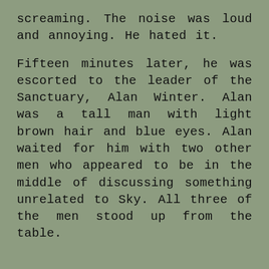screaming. The noise was loud and annoying. He hated it.
Fifteen minutes later, he was escorted to the leader of the Sanctuary, Alan Winter. Alan was a tall man with light brown hair and blue eyes. Alan waited for him with two other men who appeared to be in the middle of discussing something unrelated to Sky. All three of the men stood up from the table.